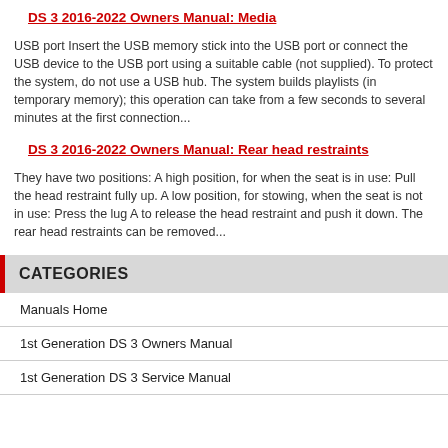DS 3 2016-2022 Owners Manual: Media
USB port Insert the USB memory stick into the USB port or connect the USB device to the USB port using a suitable cable (not supplied). To protect the system, do not use a USB hub. The system builds playlists (in temporary memory); this operation can take from a few seconds to several minutes at the first connection...
DS 3 2016-2022 Owners Manual: Rear head restraints
They have two positions: A high position, for when the seat is in use: Pull the head restraint fully up. A low position, for stowing, when the seat is not in use: Press the lug A to release the head restraint and push it down. The rear head restraints can be removed...
CATEGORIES
Manuals Home
1st Generation DS 3 Owners Manual
1st Generation DS 3 Service Manual